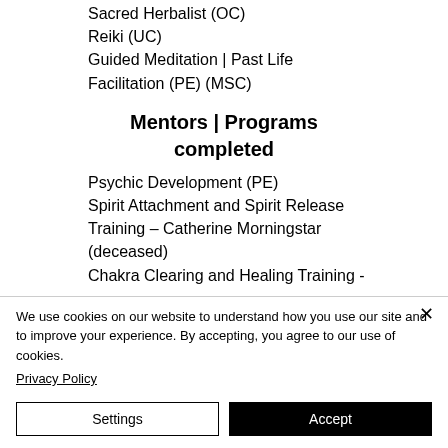Sacred Herbalist (OC)
Reiki (UC)
Guided Meditation | Past Life Facilitation (PE) (MSC)
Mentors | Programs completed
Psychic Development (PE)
Spirit Attachment and Spirit Release Training – Catherine Morningstar (deceased)
Chakra Clearing and Healing Training -
We use cookies on our website to understand how you use our site and to improve your experience. By accepting, you agree to our use of cookies.
Privacy Policy
Settings
Accept